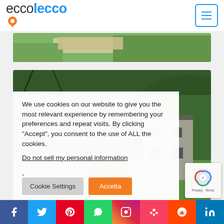[Figure (logo): ecco lecco logo with orange map pin and blue text]
[Figure (photo): Landscape photo strip showing rocky terrain and green vegetation]
[Figure (photo): Second photo showing green hills with stone building]
We use cookies on our website to give you the most relevant experience by remembering your preferences and repeat visits. By clicking "Accept", you consent to the use of ALL the cookies.
Do not sell my personal information.
[Figure (infographic): Cookie Settings button (gray), Accetta button (orange), Reject all button (gray)]
[Figure (infographic): Social media icon bar: Facebook, Twitter, Pinterest, WhatsApp, Instagram, unknown, Reddit, LinkedIn]
[Figure (other): reCAPTCHA badge with Privacy and Terms links]